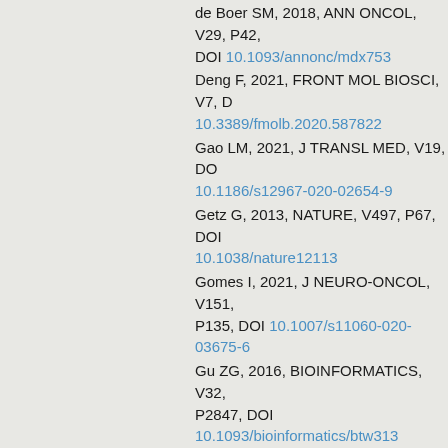de Boer SM, 2018, ANN ONCOL, V29, P42, DOI 10.1093/annonc/mdx753
Deng F, 2021, FRONT MOL BIOSCI, V7, DOI 10.3389/fmolb.2020.587822
Gao LM, 2021, J TRANSL MED, V19, DOI 10.1186/s12967-020-02654-9
Getz G, 2013, NATURE, V497, P67, DOI 10.1038/nature12113
Gomes I, 2021, J NEURO-ONCOL, V151, P135, DOI 10.1007/s11060-020-03675-6
Gu ZG, 2016, BIOINFORMATICS, V32, P2847, DOI 10.1093/bioinformatics/btw313
Harris PA, 2009, J BIOMED INFORM, V42, P377, DOI 10.1016/j.jbi.2008.08.010
Horeweg N, 2020, CANCER IMMUNOL R, V8, P1508, DOI 10.1158/2326-6066.CIR-20-0149
Hsu YT, 2016, CANCER RES, V76, P6171, DOI 10.1158/0008-5472.CAN-16-0752
Kaspers M, 2020, AM J OBSTET GYNECO, V223, DOI 10.1016/j.ajog.2020.02.041